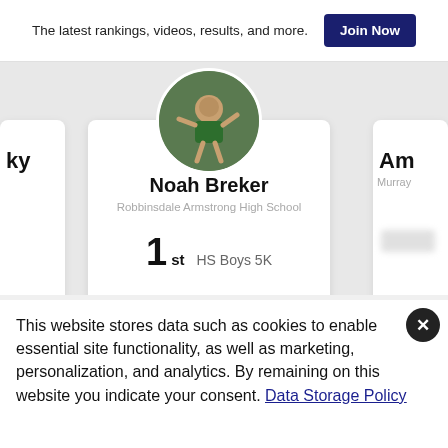The latest rankings, videos, results, and more.
Join Now
[Figure (photo): Circular avatar photo of athlete Noah Breker running on a track, wearing a green outfit]
Noah Breker
Robbinsdale Armstrong High School
1st   HS Boys 5K
Am
Murray
This website stores data such as cookies to enable essential site functionality, as well as marketing, personalization, and analytics. By remaining on this website you indicate your consent. Data Storage Policy